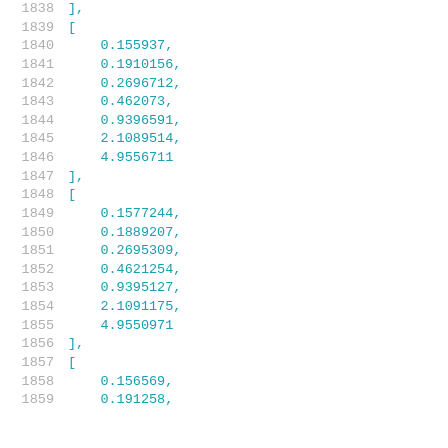Code listing lines 1838-1859 showing nested array data with floating point values
1838: ],
1839: [
1840:     0.155937,
1841:     0.1910156,
1842:     0.2696712,
1843:     0.462073,
1844:     0.9396591,
1845:     2.1089514,
1846:     4.9556711
1847: ],
1848: [
1849:     0.1577244,
1850:     0.1889207,
1851:     0.2695309,
1852:     0.4621254,
1853:     0.9395127,
1854:     2.1091175,
1855:     4.9550971
1856: ],
1857: [
1858:     0.156569,
1859:     0.191258,